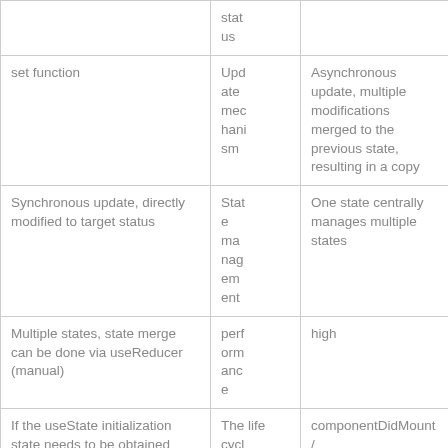|  | status |  |
| set function | Update mechanism | Asynchronous update, multiple modifications merged to the previous state, resulting in a copy |
| Synchronous update, directly modified to target status | State management | One state centrally manages multiple states |
| Multiple states, state merge can be done via useReducer (manual) | performance | high |
| If the useState initialization state needs to be obtained through very complicated calculations, please use the declaration method of the function, otherwise it will be... | The life cycle | componentDidMount / componentDidUpdate / componentWillUnmount |